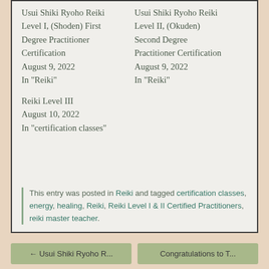Usui Shiki Ryoho Reiki Level I, (Shoden) First Degree Practitioner Certification
August 9, 2022
In "Reiki"
Usui Shiki Ryoho Reiki Level II, (Okuden) Second Degree Practitioner Certification
August 9, 2022
In "Reiki"
Reiki Level III
August 10, 2022
In "certification classes"
This entry was posted in Reiki and tagged certification classes, energy, healing, Reiki, Reiki Level I & II Certified Practitioners, reiki master teacher.
← Usui Shiki Ryoho R...
Congratulations to T...